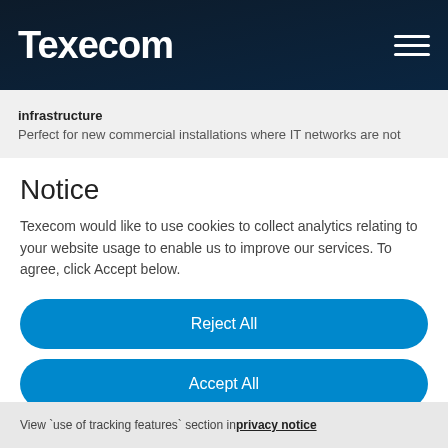Texecom
infrastructure
Perfect for new commercial installations where IT networks are not
Notice
Texecom would like to use cookies to collect analytics relating to your website usage to enable us to improve our services. To agree, click Accept below.
Reject All
Accept All
View `use of tracking features` section in privacy notice